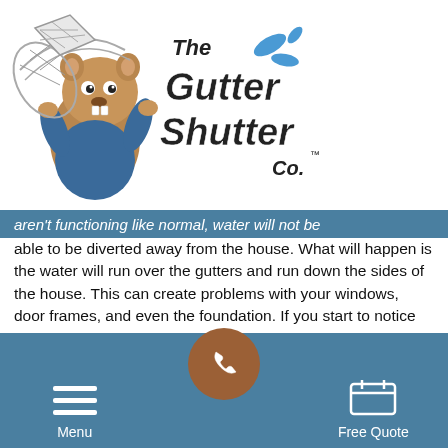[Figure (logo): The Gutter Shutter Co. logo with cartoon beaver mascot holding a gutter guard, with company name in bold stylized text]
aren't functioning like normal, water will not be able to be diverted away from the house. What will happen is the water will run over the gutters and run down the sides of the house. This can create problems with your windows, door frames, and even the foundation. If you start to notice any of the problems below, it is definitely time to have the gutters replaced.
Gutters hanging down
Cracks along the gutters
Menu | [phone] | Free Quote